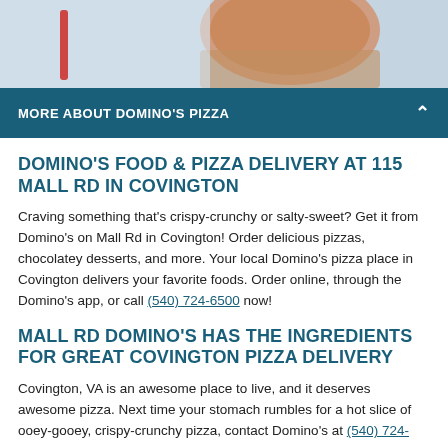[Figure (photo): Photo of a person holding a Domino's pizza box with a pizza on it, partial view at top of page]
MORE ABOUT DOMINO'S PIZZA
DOMINO'S FOOD & PIZZA DELIVERY AT 115 MALL RD IN COVINGTON
Craving something that's crispy-crunchy or salty-sweet? Get it from Domino's on Mall Rd in Covington! Order delicious pizzas, chocolatey desserts, and more. Your local Domino's pizza place in Covington delivers your favorite foods. Order online, through the Domino's app, or call (540) 724-6500 now!
MALL RD DOMINO'S HAS THE INGREDIENTS FOR GREAT COVINGTON PIZZA DELIVERY
Covington, VA is an awesome place to live, and it deserves awesome pizza. Next time your stomach rumbles for a hot slice of ooey-gooey, crispy-crunchy pizza, contact Domino's at (540) 724-